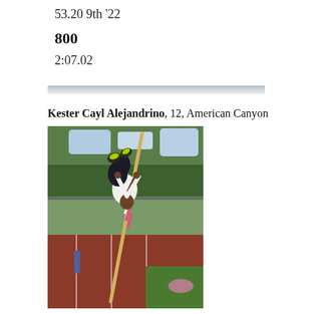53.20 9th '22
800
2:07.02
[Figure (other): Horizontal decorative divider bar with gradient from gray to light gray]
Kester Cayl Alejandrino, 12, American Canyon
[Figure (photo): Athlete performing pole vault on a red track, arms raised holding the pole, trees and athletic facility in the background]